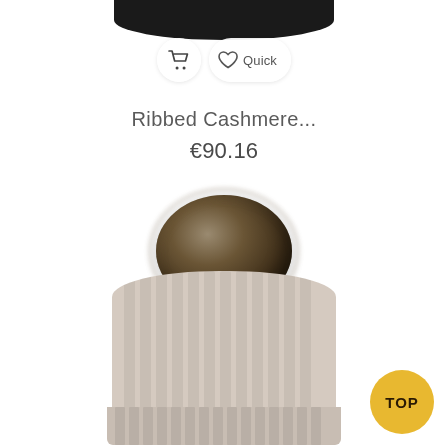[Figure (photo): Black ribbed cashmere hat partially visible at top of page with shopping cart icon button and heart/Quick view button overlay]
Ribbed Cashmere...
€90.16
[Figure (photo): Beige/cream ribbed cashmere beanie hat with large dark brown faux fur pompom on top, product photo on white background]
TOP